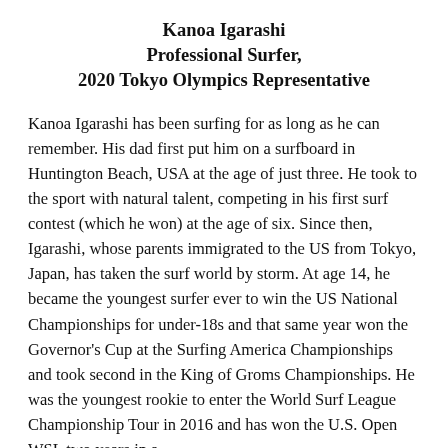Kanoa Igarashi
Professional Surfer,
2020 Tokyo Olympics Representative
Kanoa Igarashi has been surfing for as long as he can remember. His dad first put him on a surfboard in Huntington Beach, USA at the age of just three. He took to the sport with natural talent, competing in his first surf contest (which he won) at the age of six. Since then, Igarashi, whose parents immigrated to the US from Tokyo, Japan, has taken the surf world by storm. At age 14, he became the youngest surfer ever to win the US National Championships for under-18s and that same year won the Governor's Cup at the Surfing America Championships and took second in the King of Groms Championships. He was the youngest rookie to enter the World Surf League Championship Tour in 2016 and has won the U.S. Open WSL two years in a